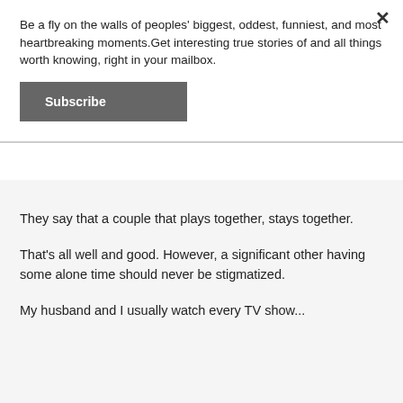Be a fly on the walls of peoples' biggest, oddest, funniest, and most heartbreaking moments.Get interesting true stories of and all things worth knowing, right in your mailbox.
Subscribe
They say that a couple that plays together, stays together.
That's all well and good. However, a significant other having some alone time should never be stigmatized.
My husband and I usually watch every TV show...